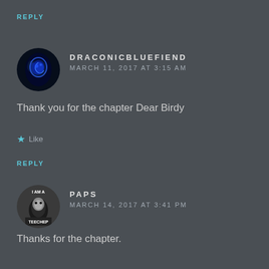REPLY
[Figure (photo): Round avatar with blue glowing dragon on dark background]
DRACONICBLUEFIEND
MARCH 11, 2017 AT 3:15 AM
Thank you for the chapter Dear Birdy
★ Like
REPLY
[Figure (photo): Round avatar with text 'I AM A' and 'TEECHEP' with penguin/character image]
PAPS
MARCH 14, 2017 AT 3:41 PM
Thanks for the chapter.
★ Like
REPLY